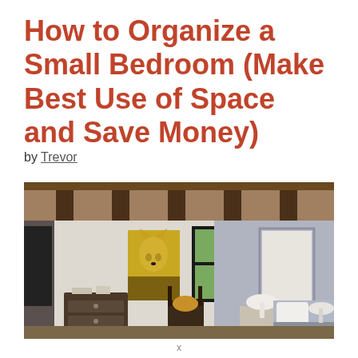How to Organize a Small Bedroom (Make Best Use of Space and Save Money)
by Trevor
[Figure (photo): Interior photo of a small bedroom with exposed wood beam ceiling, a dresser with artwork above it, a window with green trees visible outside, and a bed with white pillows and lamp on each side.]
x